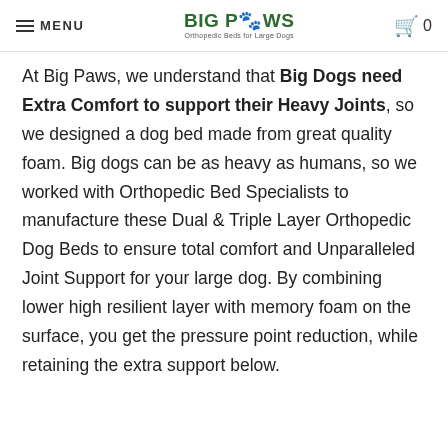MENU | BIG PAWS Orthopedic Beds for Large Dogs | 0
At Big Paws, we understand that Big Dogs need Extra Comfort to support their Heavy Joints, so we designed a dog bed made from great quality foam. Big dogs can be as heavy as humans, so we worked with Orthopedic Bed Specialists to manufacture these Dual & Triple Layer Orthopedic Dog Beds to ensure total comfort and Unparalleled Joint Support for your large dog. By combining lower high resilient layer with memory foam on the surface, you get the pressure point reduction, while retaining the extra support below.